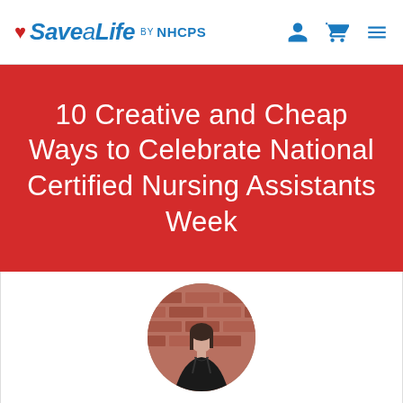Save a Life by NHCPS
10 Creative and Cheap Ways to Celebrate National Certified Nursing Assistants Week
[Figure (photo): Circular profile photo of a young woman in a black outfit standing against a brick wall background]